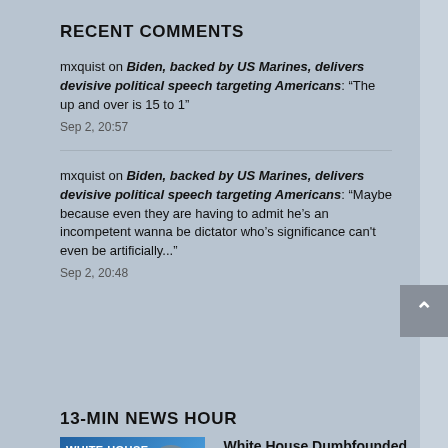RECENT COMMENTS
mxquist on Biden, backed by US Marines, delivers devisive political speech targeting Americans: “The up and over is 15 to 1”
Sep 2, 20:57
mxquist on Biden, backed by US Marines, delivers devisive political speech targeting Americans: “Maybe because even they are having to admit he’s an incompetent wanna be dictator who’s significance can't even be artificially...”
Sep 2, 20:48
13-MIN NEWS HOUR
[Figure (photo): News thumbnail showing White House Clueless chyron with a woman]
White House Dumbfounded on Who Will Pay for Student